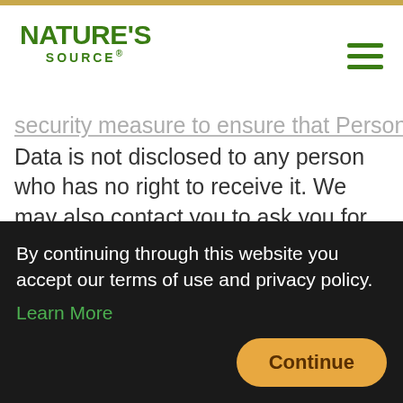NATURE'S SOURCE
security measure to ensure that Personal Data is not disclosed to any person who has no right to receive it. We may also contact you to ask you for further information in relation to your request to speed up our response.
By continuing through this website you accept our terms of use and privacy policy. Learn More
Continue